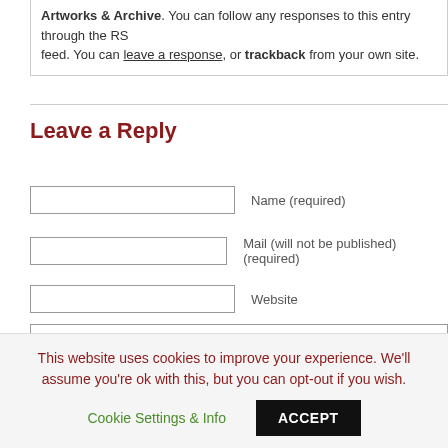Artworks & Archive. You can follow any responses to this entry through the RSS feed. You can leave a response, or trackback from your own site.
Leave a Reply
Name (required)
Mail (will not be published) (required)
Website
Submit Comment
This website uses cookies to improve your experience. We'll assume you're ok with this, but you can opt-out if you wish.
Cookie Settings & Info
ACCEPT